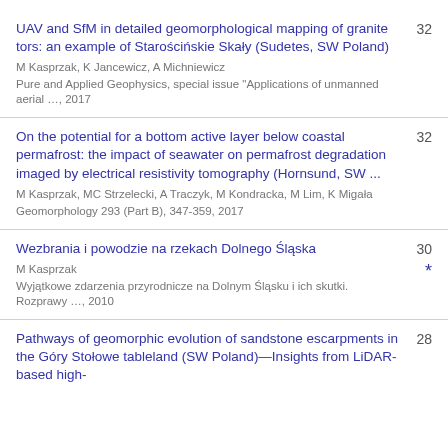UAV and SfM in detailed geomorphological mapping of granite tors: an example of Starościńskie Skały (Sudetes, SW Poland) | M Kasprzak, K Jancewicz, A Michniewicz | Pure and Applied Geophysics, special issue "Applications of unmanned aerial …, 2017 | 32
On the potential for a bottom active layer below coastal permafrost: the impact of seawater on permafrost degradation imaged by electrical resistivity tomography (Hornsund, SW ... | M Kasprzak, MC Strzelecki, A Traczyk, M Kondracka, M Lim, K Migała | Geomorphology 293 (Part B), 347-359, 2017 | 32
Wezbrania i powodzie na rzekach Dolnego Śląska | M Kasprzak | Wyjątkowe zdarzenia przyrodnicze na Dolnym Śląsku i ich skutki. Rozprawy …, 2010 | 30 *
Pathways of geomorphic evolution of sandstone escarpments in the Góry Stołowe tableland (SW Poland)—Insights from LiDAR-based high- | 28